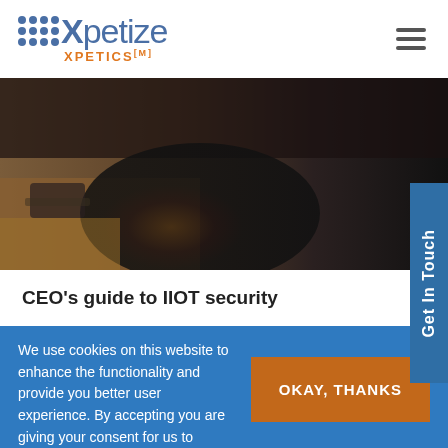[Figure (logo): Xpetize / XPETICS logo with dot grid and orange subtitle]
[Figure (photo): Blurred close-up photo of a person at a desk, dark background]
CEO's guide to IIOT security
We use cookies on this website to enhance the functionality and provide you better user experience. By accepting you are giving your consent for us to enable cookies.  Find out more.
OKAY, THANKS